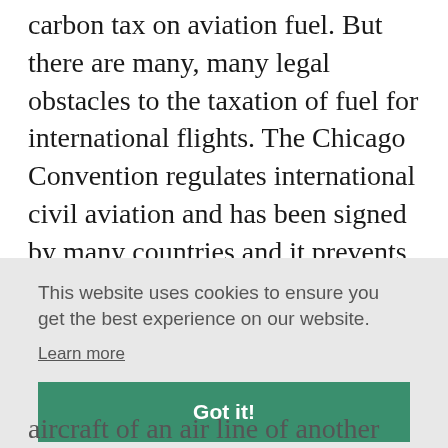carbon tax on aviation fuel. But there are many, many legal obstacles to the taxation of fuel for international flights. The Chicago Convention regulates international civil aviation and has been signed by many countries and it prevents its signatories from taxing fuel on board of an aircraft of another contracting state on the condition
This website uses cookies to ensure you get the best experience on our website.
Learn more
Got it!
aircraft of an air line of another